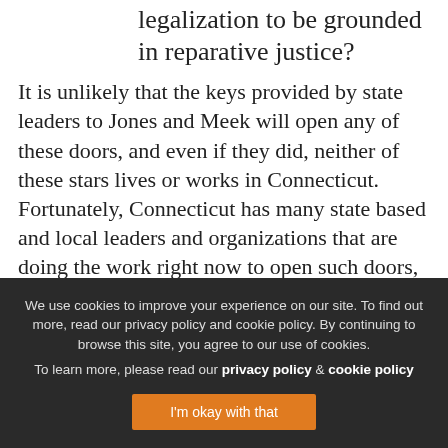these keys open doors for marijuana legalization to be grounded in reparative justice?
It is unlikely that the keys provided by state leaders to Jones and Meek will open any of these doors, and even if they did, neither of these stars lives or works in Connecticut. Fortunately, Connecticut has many state based and local leaders and organizations that are doing the work right now to open such doors, though they are often doing this work without recognition, fanfare, or support.
We use cookies to improve your experience on our site. To find out more, read our privacy policy and cookie policy. By continuing to browse this site, you agree to our use of cookies. To learn more, please read our privacy policy & cookie policy
I'm okay with that